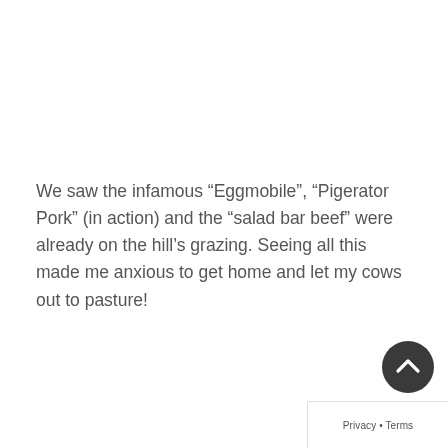We saw the infamous “Eggmobile”, “Pigerator Pork” (in action) and the “salad bar beef” were already on the hill’s grazing. Seeing all this made me anxious to get home and let my cows out to pasture!
Privacy • Terms